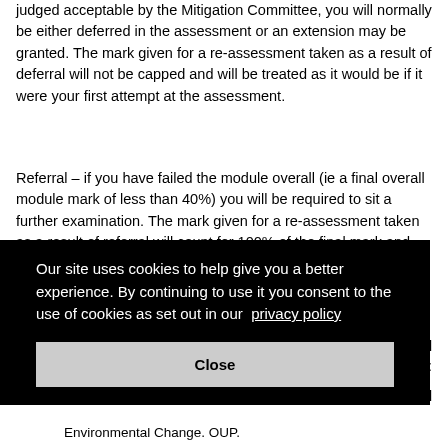judged acceptable by the Mitigation Committee, you will normally be either deferred in the assessment or an extension may be granted. The mark given for a re-assessment taken as a result of deferral will not be capped and will be treated as it would be if it were your first attempt at the assessment.
Referral – if you have failed the module overall (ie a final overall module mark of less than 40%) you will be required to sit a further examination. The mark given for a re-assessment taken as a result of referral will count for 100% of the final mark and will be capped at 40%.
Our site uses cookies to help give you a better experience. By continuing to use it you consent to the use of cookies as set out in our privacy policy
nmental : obal
Environmental Change. OUP.